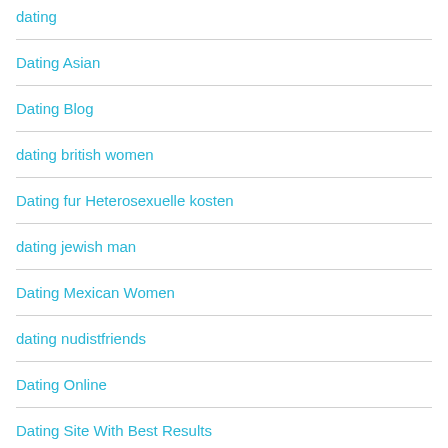dating
Dating Asian
Dating Blog
dating british women
Dating fur Heterosexuelle kosten
dating jewish man
Dating Mexican Women
dating nudistfriends
Dating Online
Dating Site With Best Results
Dating Sites
dating sites for college students
dating sites for free